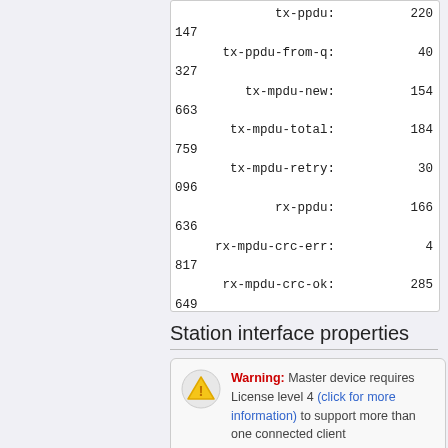tx-ppdu: 220
147
tx-ppdu-from-q: 40
327
tx-mpdu-new: 154
663
tx-mpdu-total: 184
759
tx-mpdu-retry: 30
096
rx-ppdu: 166
636
rx-mpdu-crc-err: 4
817
rx-mpdu-crc-ok: 285
649
Station interface properties
Warning: Master device requires License level 4 (click for more information) to support more than one connected client